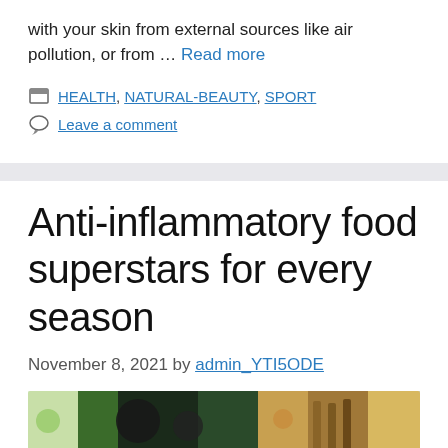with your skin from external sources like air pollution, or from … Read more
HEALTH, NATURAL-BEAUTY, SPORT
Leave a comment
Anti-inflammatory food superstars for every season
November 8, 2021 by admin_YTI5ODE
[Figure (photo): Food items on white background including dark vegetables and spices, anti-inflammatory foods]